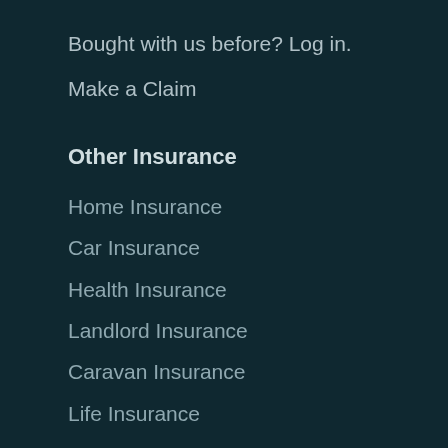Bought with us before? Log in.
Make a Claim
Other Insurance
Home Insurance
Car Insurance
Health Insurance
Landlord Insurance
Caravan Insurance
Life Insurance
Renters Insurance
Other